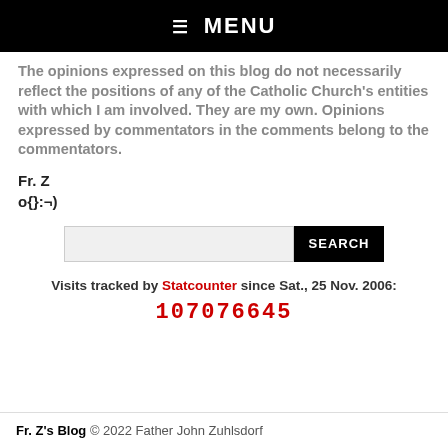☰ MENU
The opinions expressed on this blog do not necessarily reflect the positions of any of the Catholic Church's entities with which I am involved. They are my own. Opinions expressed by commentators in the comments belong to the commentators.
Fr. Z
o{}:¬)
Visits tracked by Statcounter since Sat., 25 Nov. 2006:
107076645
Fr. Z's Blog © 2022 Father John Zuhlsdorf